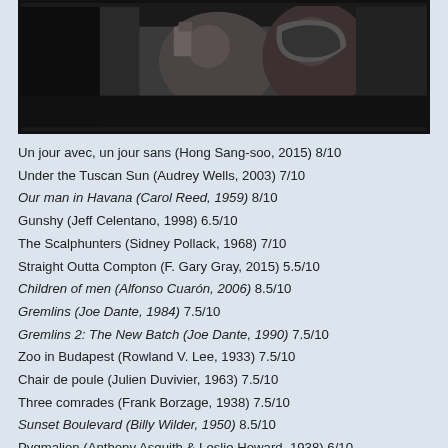[Figure (photo): Black and white film still showing two people, appears to be from a classic movie scene]
Un jour avec, un jour sans (Hong Sang-soo, 2015) 8/10
Under the Tuscan Sun (Audrey Wells, 2003) 7/10
Our man in Havana (Carol Reed, 1959) 8/10
Gunshy (Jeff Celentano, 1998) 6.5/10
The Scalphunters (Sidney Pollack, 1968) 7/10
Straight Outta Compton (F. Gary Gray, 2015) 5.5/10
Children of men (Alfonso Cuarón, 2006) 8.5/10
Gremlins (Joe Dante, 1984) 7.5/10
Gremlins 2: The New Batch (Joe Dante, 1990) 7.5/10
Zoo in Budapest (Rowland V. Lee, 1933) 7.5/10
Chair de poule (Julien Duvivier, 1963) 7.5/10
Three comrades (Frank Borzage, 1938) 7.5/10
Sunset Boulevard (Billy Wilder, 1950) 8.5/10
Pygmalion (Anthony Asquith & Leslie Howard, 1938) 6/10
Brute Force (Jules Dassin, 1947) 6.5/10